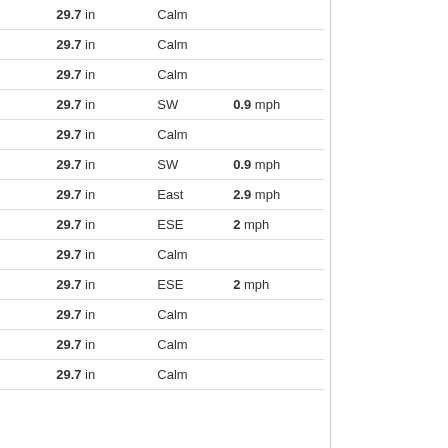| Time | Temp | Dew Point | Pressure | Wind Dir | Wind Speed |
| --- | --- | --- | --- | --- | --- |
| 02:55 | 52.5 °F | 49.6 °F | 29.7 in | Calm |  |
| 03:00 | 52.7 °F | 49.8 °F | 29.7 in | Calm |  |
| 03:05 | 52.7 °F | 49.8 °F | 29.7 in | Calm |  |
| 03:10 | 53.1 °F | 50.2 °F | 29.7 in | SW | 0.9 mph |
| 03:15 | 53.1 °F | 49.8 °F | 29.7 in | Calm |  |
| 03:20 | 53.2 °F | 50 °F | 29.7 in | SW | 0.9 mph |
| 03:25 | 53.2 °F | 50 °F | 29.7 in | East | 2.9 mph |
| 03:30 | 53.4 °F | 50.2 °F | 29.7 in | ESE | 2 mph |
| 03:35 | 53.6 °F | 50.4 °F | 29.7 in | Calm |  |
| 03:40 | 53.8 °F | 50.4 °F | 29.7 in | ESE | 2 mph |
| 03:45 | 53.6 °F | 50.2 °F | 29.7 in | Calm |  |
| 03:50 | 53.6 °F | 50.2 °F | 29.7 in | Calm |  |
| 03:56 | 53.4 °F | 50 °F | 29.7 in | Calm |  |